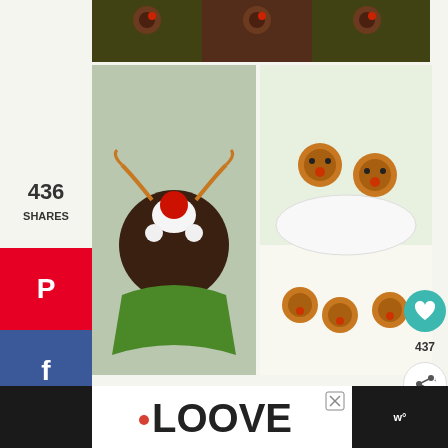[Figure (photo): Top strip showing reindeer-decorated chocolate cupcakes with green frosting]
[Figure (photo): Left: Chocolate cupcakes decorated as Rudolph reindeer with red cherry noses and pretzel antlers in green wrappers]
[Figure (photo): Right: Cookie-based reindeer treats with smiling faces on white shredded paper display]
436
SHARES
[Figure (infographic): Pinterest share button (red background with P icon)]
[Figure (infographic): Facebook share button (blue background with f icon)]
[Figure (infographic): Twitter share button (light blue background with bird icon)]
[Figure (photo): Advertisement: illustration of person in profile view on pink background with 'Action' text]
[Figure (infographic): Heart/love button widget showing 437 count]
[Figure (infographic): Advertisement: LOVE text in decorative black lettering with X close button]